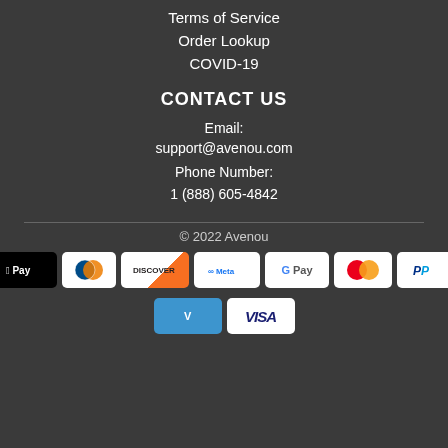Terms of Service
Order Lookup
COVID-19
CONTACT US
Email:
support@avenou.com
Phone Number:
1 (888) 605-4842
© 2022 Avenou
[Figure (other): Payment method icons: Amex, Apple Pay, Diners Club, Discover, Meta, Google Pay, Mastercard, PayPal, Shop Pay, Venmo, Visa]